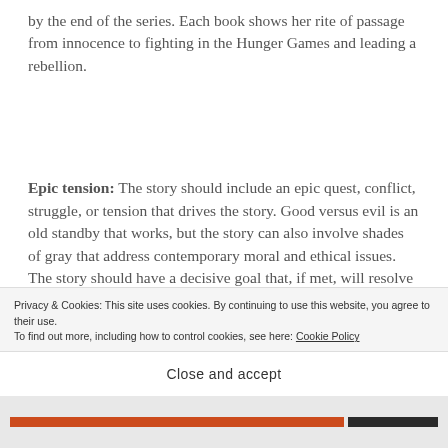by the end of the series. Each book shows her rite of passage from innocence to fighting in the Hunger Games and leading a rebellion.
Epic tension: The story should include an epic quest, conflict, struggle, or tension that drives the story. Good versus evil is an old standby that works, but the story can also involve shades of gray that address contemporary moral and ethical issues. The story should have a decisive goal that, if met, will resolve the
Privacy & Cookies: This site uses cookies. By continuing to use this website, you agree to their use.
To find out more, including how to control cookies, see here: Cookie Policy
Close and accept